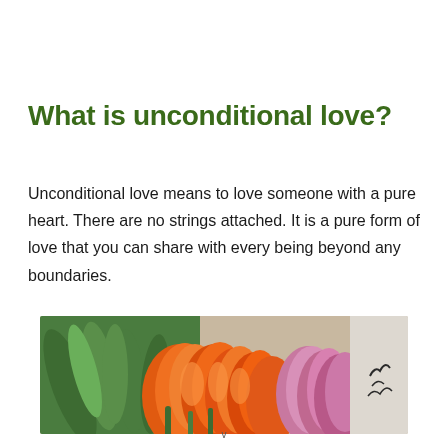What is unconditional love?
Unconditional love means to love someone with a pure heart. There are no strings attached. It is a pure form of love that you can share with every being beyond any boundaries.
[Figure (photo): A bunch of orange and pink tulips with green leaves, viewed close up from above, placed on a light surface.]
v